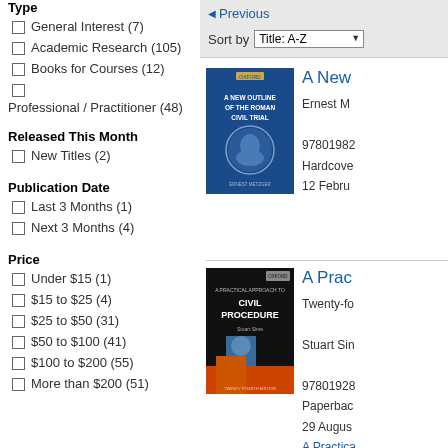Type
General Interest (7)
Academic Research (105)
Books for Courses (12)
Professional / Practitioner (48)
Released This Month
New Titles (2)
Publication Date
Last 3 Months (1)
Next 3 Months (4)
Price
Under $15 (1)
$15 to $25 (4)
$25 to $50 (31)
$50 to $100 (41)
$100 to $200 (55)
More than $200 (51)
Previous
Sort by Title: A-Z
[Figure (illustration): Book cover: A New Outline of the Roman Civil Trial, blue cover with Roman coin profile image, author Ernest Metzger]
A New
Ernest M
97801982
Hardcove
12 Febru
[Figure (illustration): Book cover: A Practical Approach to Civil Procedure, Twenty Fourth Edition, black cover with blue and orange design, author Stuart Sime]
A Prac
Twenty-fo
Stuart Sin
97801928
Paperbac
29 Augus
A Practica